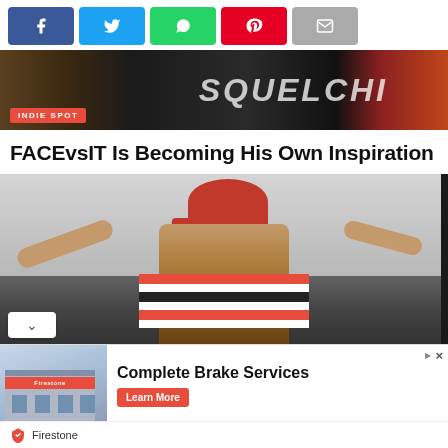[Figure (other): Social media share buttons: Facebook (blue), Twitter (light blue), WhatsApp (green), Pinterest (red), Email (gray)]
[Figure (photo): Partial image showing a person in dark clothing with tattoos visible on their arm, with the text INDIE SPOT badge visible in red on the image]
FACEvsIT Is Becoming His Own Inspiration
[Figure (photo): Main photo: a man wearing a red bucket hat and red/white/black striped shirt, making hand gestures toward the camera, against a light background]
[Figure (other): Advertisement banner for Firestone Complete Brake Services showing a Firestone auto care building photo on the left, bold text 'Complete Brake Services' in the center, and a red 'Learn More' button]
Firestone